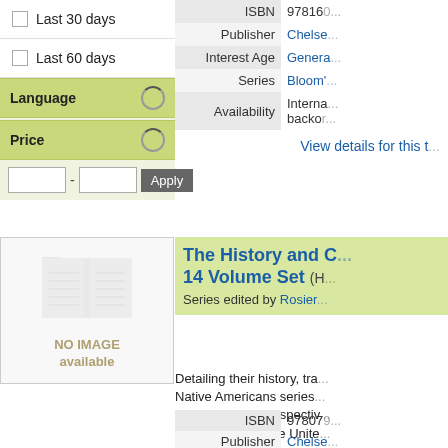Last 30 days
Last 60 days
Language
Price
|  |  |
| --- | --- |
| ISBN | 97816... |
| Publisher | Chelse... |
| Interest Age | Genera... |
| Series | Bloom'... |
| Availability | Internationally backor... |
View details for this t...
[Figure (illustration): Book cover placeholder with open book icon and 'NO IMAGE available' text]
The History and C... 14 Volume Set
Series edited by Rosier...
Detailing their history, tra... Native Americans series from their own perspectiv... development of the Unite...
Read more
|  |  |
| --- | --- |
| ISBN | 97807... |
| Publisher | Chelse... |